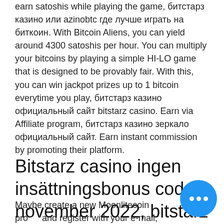earn satoshis while playing the game, битстарз казино или azinobtc где лучше играть на биткоин. With Bitcoin Aliens, you can yield around 4300 satoshis per hour. You can multiply your bitcoins by playing a simple HI-LO game that is designed to be provably fair. With this, you can win jackpot prizes up to 1 bitcoin everytime you play, битстарз казино официальный сайт bitstarz casino. Earn via Affiliate program, битстарз казино зеркало официальный сайт. Earn instant commission by promoting their platform.
Bitstarz casino ingen insättningsbonus codes november 2022, bitstarz johnnybet
Maybe create a new Moonlitecoin profile and register with your e-mail, but you will not have the litoshis of your other account. I...